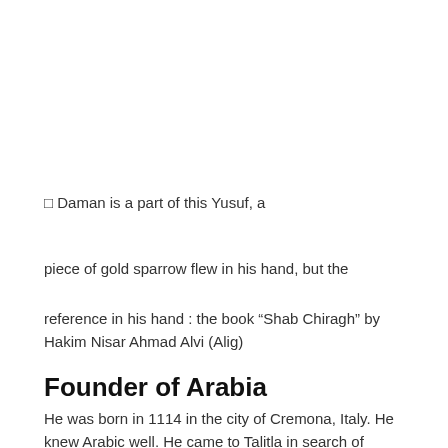□ Daman is a part of this Yusuf, a
piece of gold sparrow flew in his hand, but the
reference in his hand : the book “Shab Chiragh” by Hakim Nisar Ahmad Alvi (Alig)
Founder of Arabia
He was born in 1114 in the city of Cremona, Italy. He knew Arabic well. He came to Talitla in search of Ptolemy’s “Ajasti” (Arabic). In